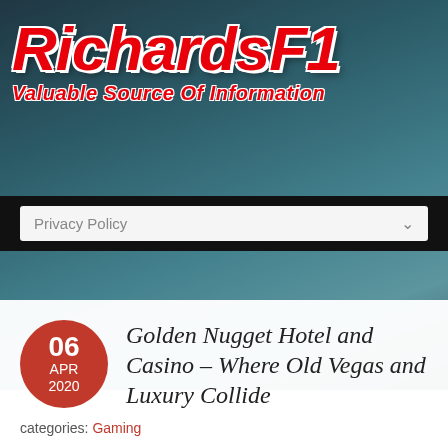[Figure (logo): RichardsF1 logo with red stylized text on a blurred Las Vegas street background. Subtitle reads 'Valuable Source Of Information']
Privacy Policy
Golden Nugget Hotel and Casino – Where Old Vegas and Luxury Collide
categories: Gaming
Las Vegas is hardly recognizable anymore. The noisy, smoky, somewhat seedy but lovable casinos have been turned into